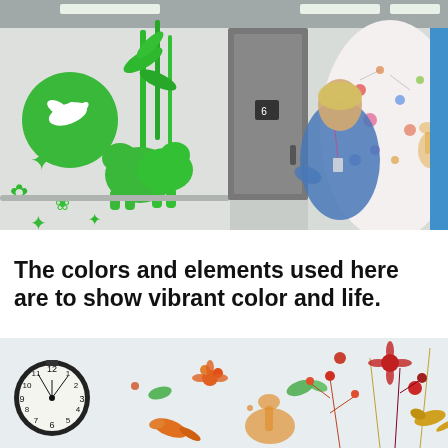[Figure (photo): Hospital corridor with green animal murals and a dove circle on the white wall on the left side. A gray door is in the center. A nurse in blue scrubs walks toward the camera in a blur. On the right, a colorful patterned mural covers a curved wall. Overhead fluorescent lighting.]
The colors and elements used here are to show vibrant color and life.
[Figure (photo): Close-up of a hospital wall with a large colorful nature mural featuring birds, butterflies, flowers, and a giraffe in warm oranges, reds, greens, and yellows on a white background. On the left is a round black analog wall clock showing approximately 10:10.]